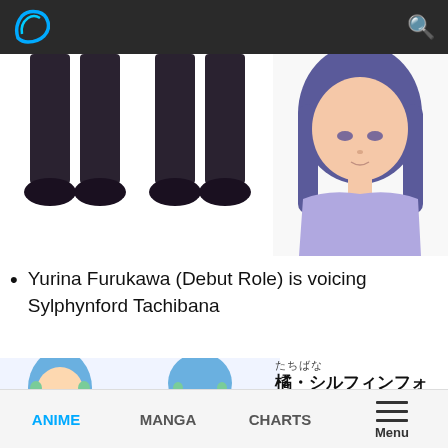Header navigation bar with logo and search icon
[Figure (illustration): Two anime character lower body / legs in dark stockings and shoes on the left, and an anime character portrait (female, blue-purple hair, lavender top) on the right]
Yurina Furukawa (Debut Role) is voicing Sylphynford Tachibana
[Figure (illustration): Two views of blue-haired anime character Sylphynford Tachibana (front and back) with Japanese name card showing たちばな 橘・シルフィンフォード, CV. 古川由利奈]
ANIME | MANGA | CHARTS | Menu